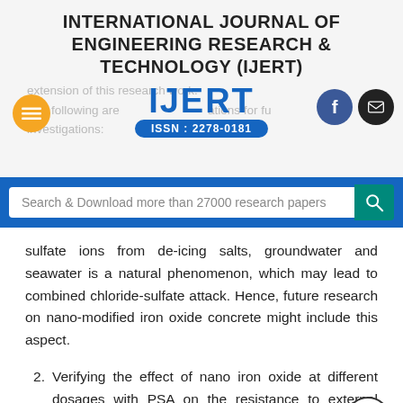INTERNATIONAL JOURNAL OF ENGINEERING RESEARCH & TECHNOLOGY (IJERT)
extension of this research work.
[Figure (logo): IJERT logo with ISSN: 2278-0181]
The following are recommendations for future investigations:
sulfate ions from de-icing salts, groundwater and seawater is a natural phenomenon, which may lead to combined chloride-sulfate attack. Hence, future research on nano-modified iron oxide concrete might include this aspect.
2. Verifying the effect of nano iron oxide at different dosages with PSA on the resistance to external sulfate attack.